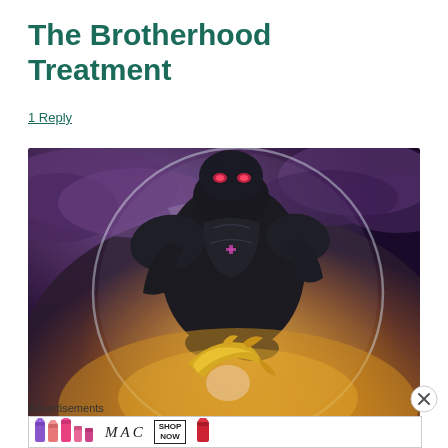The Brotherhood Treatment
1 Reply
[Figure (illustration): Anime illustration from Fullmetal Alchemist Brotherhood showing a large black armored figure (Alphonse Elric) with glowing red eyes and a smaller blonde character (Edward Elric) in the foreground, against a dramatic golden and purple cloudy background with a large transparent sphere.]
Advertisements
[Figure (screenshot): MAC cosmetics advertisement banner showing colorful lipsticks on the left, MAC logo in the center, a SHOP NOW box, and red lipstick on the right.]